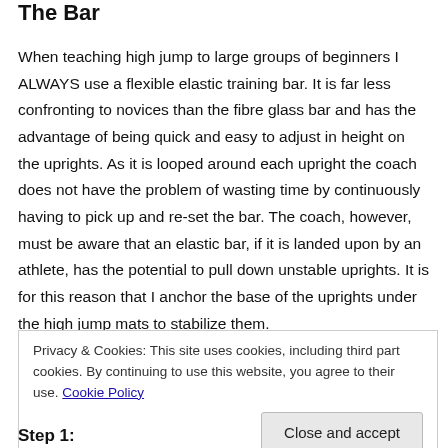The Bar
When teaching high jump to large groups of beginners I ALWAYS use a flexible elastic training bar. It is far less confronting to novices than the fibre glass bar and has the advantage of being quick and easy to adjust in height on the uprights. As it is looped around each upright the coach does not have the problem of wasting time by continuously having to pick up and re-set the bar. The coach, however, must be aware that an elastic bar, if it is landed upon by an athlete, has the potential to pull down unstable uprights. It is for this reason that I anchor the base of the uprights under the high jump mats to stabilize them.
Privacy & Cookies: This site uses cookies, including third part cookies. By continuing to use this website, you agree to their use. Cookie Policy
Step 1: